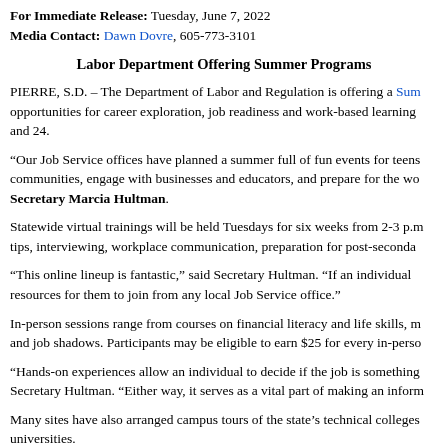For Immediate Release: Tuesday, June 7, 2022
Media Contact: Dawn Dovre, 605-773-3101
Labor Department Offering Summer Programs
PIERRE, S.D. – The Department of Labor and Regulation is offering a Summer Youth Program with opportunities for career exploration, job readiness and work-based learning for individuals ages 14 and 24.
“Our Job Service offices have planned a summer full of fun events for teens to become connected to communities, engage with businesses and educators, and prepare for the workforce,” said Labor Secretary Marcia Hultman.
Statewide virtual trainings will be held Tuesdays for six weeks from 2-3 p.m. and will cover resume tips, interviewing, workplace communication, preparation for post-secondary
“This online lineup is fantastic,” said Secretary Hultman. “If an individual does not have internet resources for them to join from any local Job Service office.”
In-person sessions range from courses on financial literacy and life skills, mock interviews, site visits and job shadows. Participants may be eligible to earn $25 for every in-perso
“Hands-on experiences allow an individual to decide if the job is something they are interested in,” Secretary Hultman. “Either way, it serves as a vital part of making an inform
Many sites have also arranged campus tours of the state’s technical colleges and universities.
Advance registration for the intern